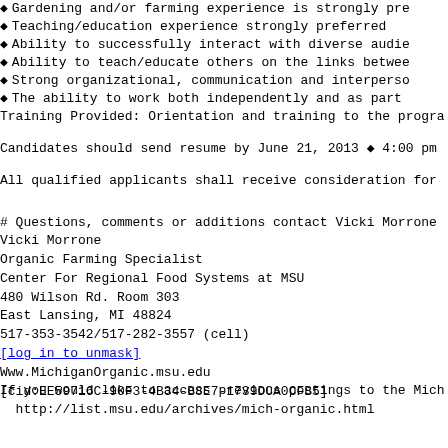Gardening and/or farming experience is strongly preferred
Teaching/education experience strongly preferred
Ability to successfully interact with diverse audiences
Ability to teach/educate others on the links between
Strong organizational, communication and interpersonal
The ability to work both independently and as part
Training Provided: Orientation and training to the program
Candidates should send resume by June 21, 2013 ◆ 4:00 pm
All qualified applicants shall receive consideration for
# Questions, comments or additions contact Vicki Morrone
Vicki Morrone
Organic Farming Specialist
Center For Regional Food Systems at MSU
480 Wilson Rd. Room 303
East Lansing, MI 48824
517-353-3542/517-282-3557 (cell)
[log in to unmask]
Www.MichiganOrganic.msu.edu
[cid:EE59716C-90F3-4B34-B8E7-1739DCA0CFB5]
If you would like to access previous postings to the Michigan Organic list:
  http://list.msu.edu/archives/mich-organic.html